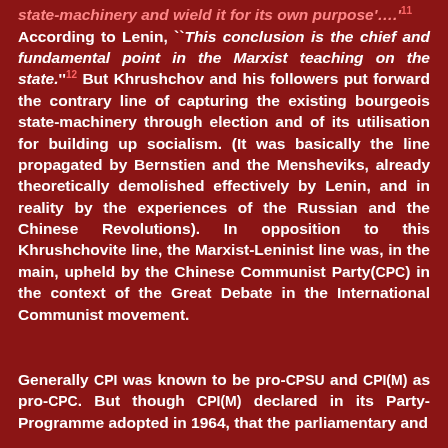state-machinery and wield it for its own purpose'….'11 According to Lenin, ``This conclusion is the chief and fundamental point in the Marxist teaching on the state.''12 But Khrushchov and his followers put forward the contrary line of capturing the existing bourgeois state-machinery through election and of its utilisation for building up socialism. (It was basically the line propagated by Bernstien and the Mensheviks, already theoretically demolished effectively by Lenin, and in reality by the experiences of the Russian and the Chinese Revolutions). In opposition to this Khrushchovite line, the Marxist-Leninist line was, in the main, upheld by the Chinese Communist Party(CPC) in the context of the Great Debate in the International Communist movement.
Generally CPI was known to be pro-CPSU and CPI(M) as pro-CPC. But though CPI(M) declared in its Party-Programme adopted in 1964, that the parliamentary and